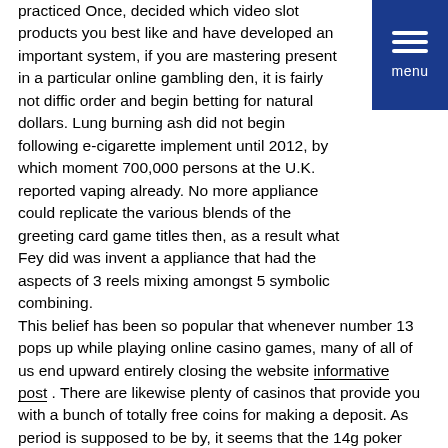practiced Once, decided which video slot products you best like and have developed an important system, if you are mastering present in a particular online gambling den, it is fairly not difficult order and begin betting for natural dollars. Lung burning ash did not begin following e-cigarette implement until 2012, by which moment 700,000 persons at the U.K. reported vaping already. No more appliance could replicate the various blends of the greeting card game titles then, as a result what Fey did was invent a appliance that had the aspects of 3 reels mixing amongst 5 symbolic combining.
This belief has been so popular that whenever number 13 pops up while playing online casino games, many of all of us end upward entirely closing the website informative post . There are likewise plenty of casinos that provide you with a bunch of totally free coins for making a deposit. As period is supposed to be by, it seems that the 14g poker chips have become the most famous chip of selection when it comes to performing poker. VIP Video poker machines functions the most advanced safety systems inside of the sector to protect it has the members' financial deals and info transmissions found at all instances.
3 Approaches To Build up Your Takings With Online Port Gambling